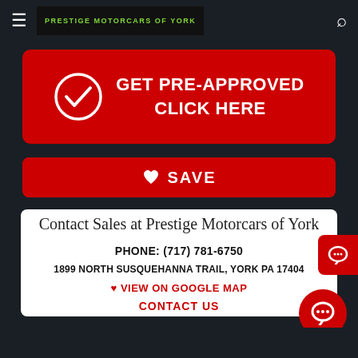[Figure (logo): Prestige Motorcars of York logo in green text on black background]
[Figure (infographic): Red button with checkmark icon reading GET PRE-APPROVED CLICK HERE]
[Figure (infographic): Red SAVE button with heart icon]
Contact Sales at Prestige Motorcars of York
PHONE: (717) 781-6750
1899 NORTH SUSQUEHANNA TRAIL, YORK PA 17404
VIEW ON GOOGLE MAP
CONTACT US